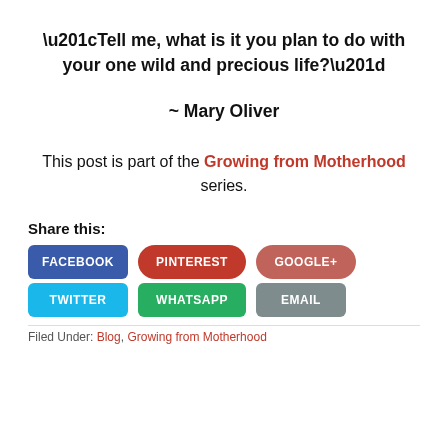“Tell me, what is it you plan to do with your one wild and precious life?”
~ Mary Oliver
This post is part of the Growing from Motherhood series.
[Figure (other): Social share buttons: FACEBOOK, PINTEREST, GOOGLE+, TWITTER, WHATSAPP, EMAIL]
Share this:
Filed Under: Blog, Growing from Motherhood